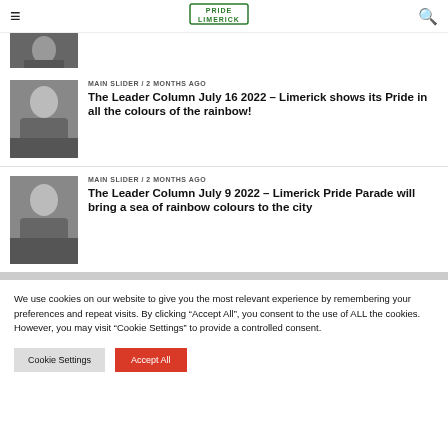Pride Limerick (logo)
[Figure (photo): Partial thumbnail of a man in black, cropped at top]
MAIN SLIDER / 2 months ago
The Leader Column July 16 2022 – Limerick shows its Pride in all the colours of the rainbow!
[Figure (photo): Thumbnail of a man in black standing outdoors with castle in background]
MAIN SLIDER / 2 months ago
The Leader Column July 9 2022 – Limerick Pride Parade will bring a sea of rainbow colours to the city
We use cookies on our website to give you the most relevant experience by remembering your preferences and repeat visits. By clicking "Accept All", you consent to the use of ALL the cookies. However, you may visit "Cookie Settings" to provide a controlled consent.